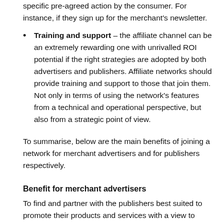specific pre-agreed action by the consumer. For instance, if they sign up for the merchant's newsletter.
Training and support – the affiliate channel can be an extremely rewarding one with unrivalled ROI potential if the right strategies are adopted by both advertisers and publishers. Affiliate networks should provide training and support to those that join them. Not only in terms of using the network's features from a technical and operational perspective, but also from a strategic point of view.
To summarise, below are the main benefits of joining a network for merchant advertisers and for publishers respectively.
Benefit for merchant advertisers
To find and partner with the publishers best suited to promote their products and services with a view to...